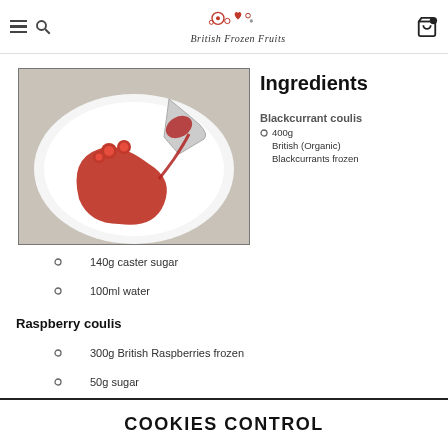British Frozen Fruits
[Figure (photo): A white plate with fresh raspberries and a red fruit coulis sauce being poured from a spoon]
Ingredients
Blackcurrant coulis
400g British (Organic) Blackcurrants frozen
140g caster sugar
100ml water
Raspberry coulis
300g British Raspberries frozen
50g sugar
COOKIES CONTROL